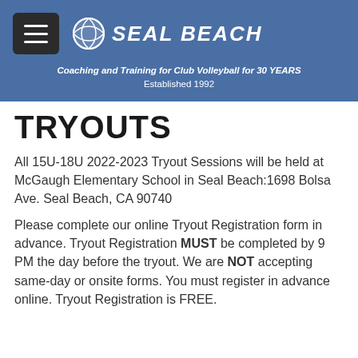SEAL BEACH — Coaching and Training for Club Volleyball for 30 YEARS. Established 1992
TRYOUTS
All 15U-18U 2022-2023 Tryout Sessions will be held at McGaugh Elementary School in Seal Beach:1698 Bolsa Ave. Seal Beach, CA 90740
Please complete our online Tryout Registration form in advance. Tryout Registration MUST be completed by 9 PM the day before the tryout. We are NOT accepting same-day or onsite forms. You must register in advance online. Tryout Registration is FREE.